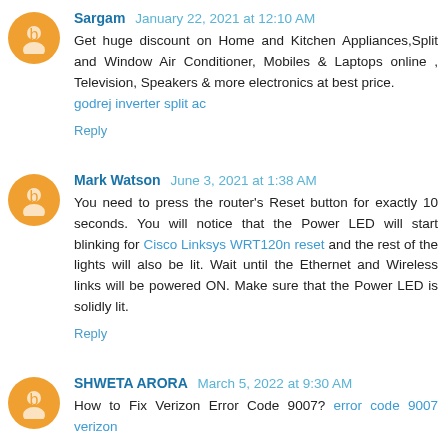Sargam January 22, 2021 at 12:10 AM
Get huge discount on Home and Kitchen Appliances,Split and Window Air Conditioner, Mobiles & Laptops online , Television, Speakers & more electronics at best price. godrej inverter split ac
Reply
Mark Watson June 3, 2021 at 1:38 AM
You need to press the router's Reset button for exactly 10 seconds. You will notice that the Power LED will start blinking for Cisco Linksys WRT120n reset and the rest of the lights will also be lit. Wait until the Ethernet and Wireless links will be powered ON. Make sure that the Power LED is solidly lit.
Reply
SHWETA ARORA March 5, 2022 at 9:30 AM
How to Fix Verizon Error Code 9007? error code 9007 verizon